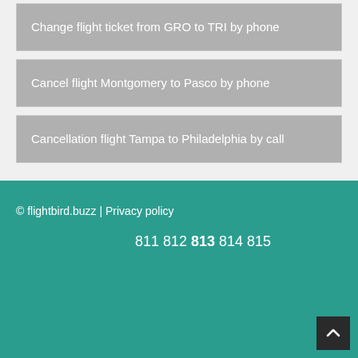Change flight ticket from GRO to TRI by phone
Cancel flight Montgomery to Pasco by phone
Cancellation flight Tampa to Philadelphia by call
© flightbird.buzz | Privacy policy
811 812 813 814 815